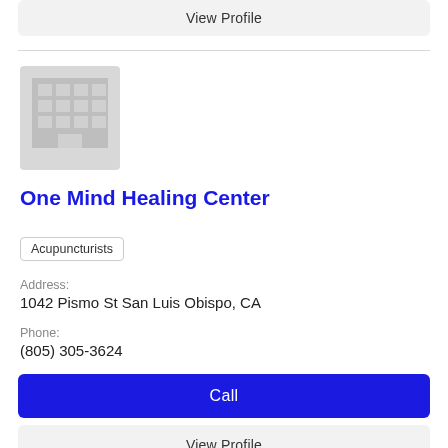View Profile
[Figure (illustration): Gray building/office placeholder icon with grid of windows]
One Mind Healing Center
Acupuncturists
Address:
1042 Pismo St San Luis Obispo, CA
Phone:
(805) 305-3624
Call
View Profile
[Figure (illustration): Gray building/office placeholder icon (partially visible at bottom)]